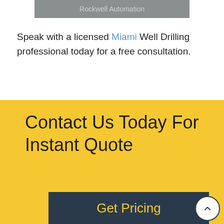[Figure (logo): Gray banner with text 'Rockwell Automation']
Speak with a licensed Miami Well Drilling professional today for a free consultation.
Contact Us Today For Instant Quote
Get Pricing